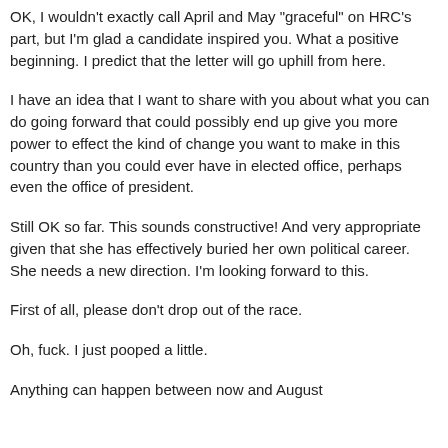OK, I wouldn't exactly call April and May "graceful" on HRC's part, but I'm glad a candidate inspired you. What a positive beginning. I predict that the letter will go uphill from here.
I have an idea that I want to share with you about what you can do going forward that could possibly end up give you more power to effect the kind of change you want to make in this country than you could ever have in elected office, perhaps even the office of president.
Still OK so far. This sounds constructive! And very appropriate given that she has effectively buried her own political career. She needs a new direction. I'm looking forward to this.
First of all, please don't drop out of the race.
Oh, fuck. I just pooped a little.
Anything can happen between now and August